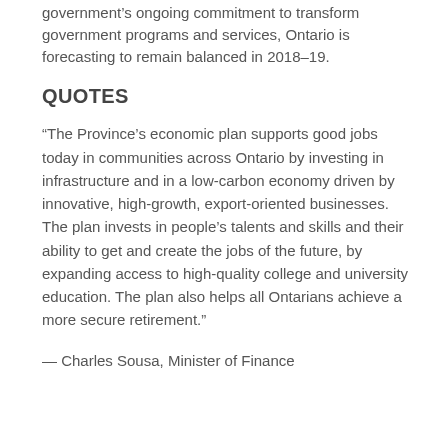government's ongoing commitment to transform government programs and services, Ontario is forecasting to remain balanced in 2018–19.
QUOTES
“The Province’s economic plan supports good jobs today in communities across Ontario by investing in infrastructure and in a low-carbon economy driven by innovative, high-growth, export-oriented businesses. The plan invests in people’s talents and skills and their ability to get and create the jobs of the future, by expanding access to high-quality college and university education. The plan also helps all Ontarians achieve a more secure retirement.”
— Charles Sousa, Minister of Finance